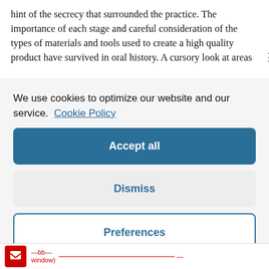hint of the secrecy that surrounded the practice. The importance of each stage and careful consideration of the types of materials and tools used to create a high quality product have survived in oral history. A cursory look at areas
We use cookies to optimize our website and our service.  Cookie Policy
Accept all
Dismiss
Preferences
—bb— window)